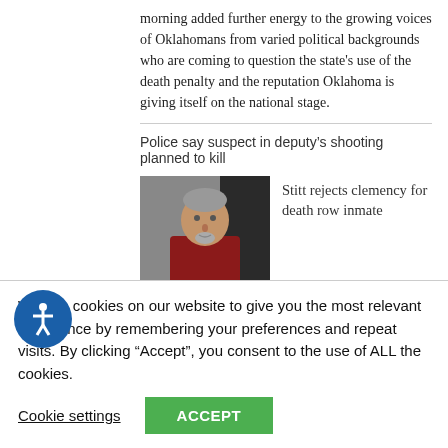morning added further energy to the growing voices of Oklahomans from varied political backgrounds who are coming to question the state's use of the death penalty and the reputation Oklahoma is giving itself on the national stage.
Police say suspect in deputy's shooting planned to kill
[Figure (photo): Mugshot-style photo of an older white male with a goatee wearing a red top, appearing to be in a courtroom or jail setting]
Stitt rejects clemency for death row inmate
[Figure (photo): Two women posing together at a Paul Newman's Own Foundation event — one wearing a black turtleneck and hat, the other with blonde hair wearing black]
Paul Newman's daughters sue late actor's charity foundation
We use cookies on our website to give you the most relevant experience by remembering your preferences and repeat visits. By clicking “Accept”, you consent to the use of ALL the cookies.
Cookie settings
ACCEPT